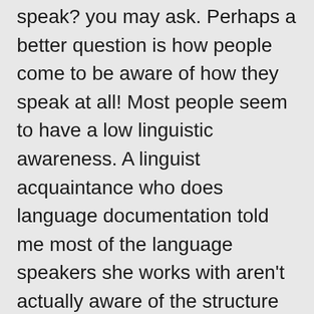speak? you may ask. Perhaps a better question is how people come to be aware of how they speak at all! Most people seem to have a low linguistic awareness. A linguist acquaintance who does language documentation told me most of the language speakers she works with aren't actually aware of the structure of their language at all, though some correspondents show a high level of knowledge about their language. This seems to extend to languages that have a high level of literacy and therefore some phonological awareness.
While cruising YouTube as one does, I found these